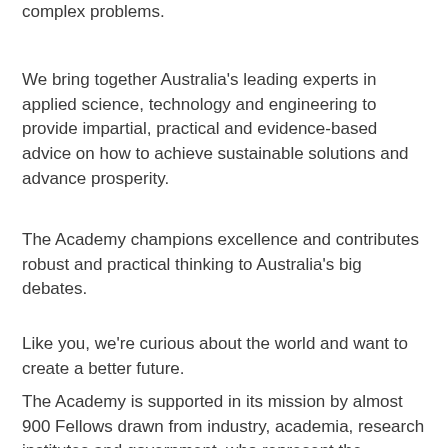complex problems.
We bring together Australia's leading experts in applied science, technology and engineering to provide impartial, practical and evidence-based advice on how to achieve sustainable solutions and advance prosperity.
The Academy champions excellence and contributes robust and practical thinking to Australia's big debates.
Like you, we're curious about the world and want to create a better future.
The Academy is supported in its mission by almost 900 Fellows drawn from industry, academia, research institutes and government, who represent the brightest and the best in science, technology and engineering in Australia.